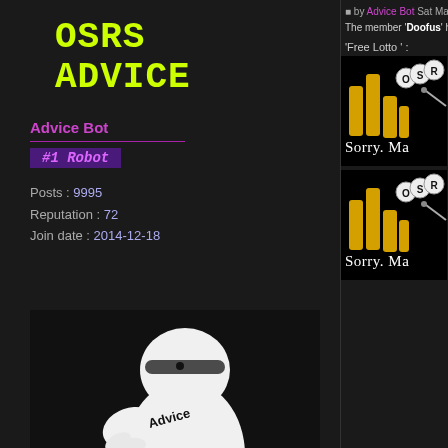OSRS ADVICE
Advice Bot
#1 Robot
Posts : 9995
Reputation : 72
Join date : 2014-12-18
[Figure (illustration): White Baymax-like robot figure with 'Advice' written on its body, on dark background]
by Advice Bot Sat May 05, 20...
The member 'Doofus' has
'Free Lotto ' :
[Figure (screenshot): Dark image with yellow bar graph elements, OSR letter balls, and text 'Sorry. Ma']
[Figure (screenshot): Dark image with yellow bar graph elements, OSR letter balls, and text 'Sorry. Ma']